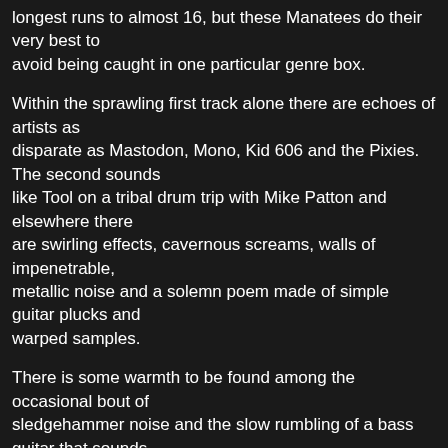longest runs to almost 16, but these Manatees do their very best to avoid being caught in one particular genre box.
Within the sprawling first track alone there are echoes of artists as disparate as Mastodon, Mono, Kid 606 and the Pixies. The second sounds like Tool on a tribal drum trip with Mike Patton and elsewhere there are swirling effects, cavernous screams, walls of impenetrable, metallic noise and a solemn poem made of simple guitar plucks and warped samples.
There is some warmth to be found among the occasional bout of sledgehammer noise and the slow rumbling of a bass guitar that sounds like it has foot-wide cable for strings but this is mostly music that